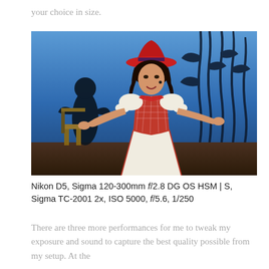your choice in size.
[Figure (photo): A young woman performer on stage wearing a red hat and a white and red period costume dress with arms outstretched, performing in a theatrical production against a blue-lit backdrop with corn stalk silhouettes and another silhouetted figure to the left.]
Nikon D5, Sigma 120-300mm f/2.8 DG OS HSM | S, Sigma TC-2001 2x, ISO 5000, f/5.6, 1/250
There are three more performances for me to tweak my exposure and sound to capture the best quality possible from my setup. At the